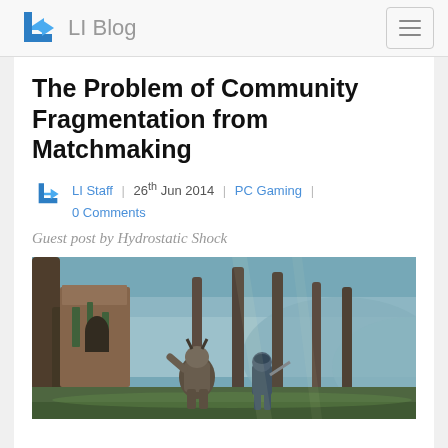LI Blog
The Problem of Community Fragmentation from Matchmaking
LI Staff | 26th Jun 2014 | PC Gaming | 0 Comments
Guest post by Hydrostatic Shock
[Figure (photo): Screenshot from a video game showing two armored characters in a forest environment with tall trees and misty background, near a ruined structure.]